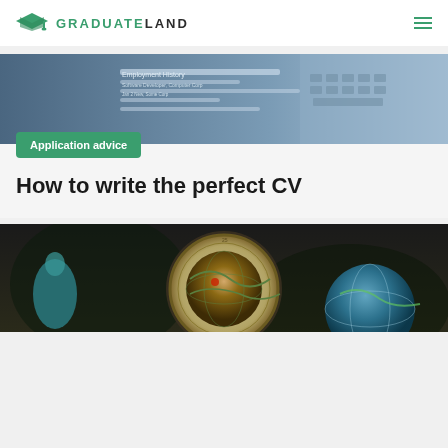GRADUATELAND
[Figure (photo): Close-up of a CV/resume document with keyboard in background, blue-tinted]
Application advice
How to write the perfect CV
[Figure (photo): Collection of vintage globes and compasses on a dark background]